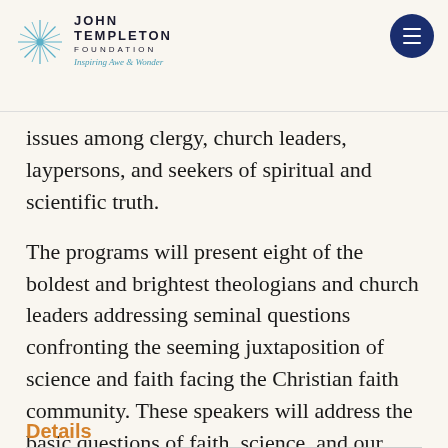JOHN TEMPLETON FOUNDATION Inspiring Awe & Wonder
issues among clergy, church leaders, laypersons, and seekers of spiritual and scientific truth.
The programs will present eight of the boldest and brightest theologians and church leaders addressing seminal questions confronting the seeming juxtaposition of science and faith facing the Christian faith community. These speakers will address the basic questions of faith, science, and our place in the world.
Details